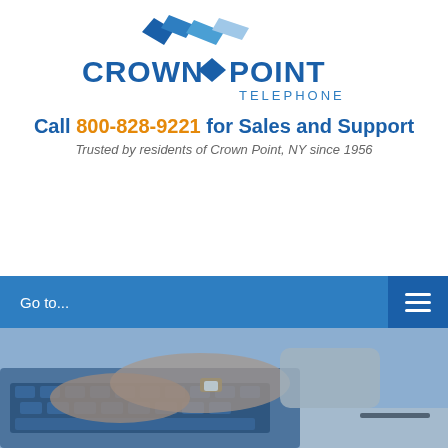[Figure (logo): Crown Point Telephone logo with blue diamond shapes and text]
Call 800-828-9221 for Sales and Support
Trusted by residents of Crown Point, NY since 1956
Go to...
[Figure (photo): Person typing on a laptop computer, wearing a watch, blue-tinted photo]